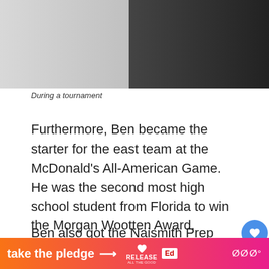[Figure (photo): Two people posing together during a basketball tournament, one wearing white and one wearing dark clothing]
During a tournament
Furthermore, Ben became the starter for the east team at the McDonald's All-American Game. He was the second most high school student from Florida to win the Morgan Wootten Award.
Ben also got the Naismith Prep Player of the Year and Gatorade National Player of the Year. With his presence, he successively led Montverde to win the High School National Tournament third time.
[Figure (screenshot): Bottom banner advertisement: 'take the pledge' with arrow, Release and Ed logos, and additional branding on right side]